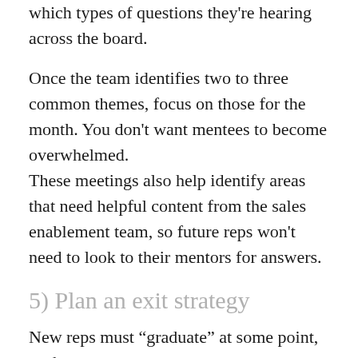which types of questions they're hearing across the board.
Once the team identifies two to three common themes, focus on those for the month. You don't want mentees to become overwhelmed.
These meetings also help identify areas that need helpful content from the sales enablement team, so future reps won't need to look to their mentors for answers.
5) Plan an exit strategy
New reps must “graduate” at some point, or they